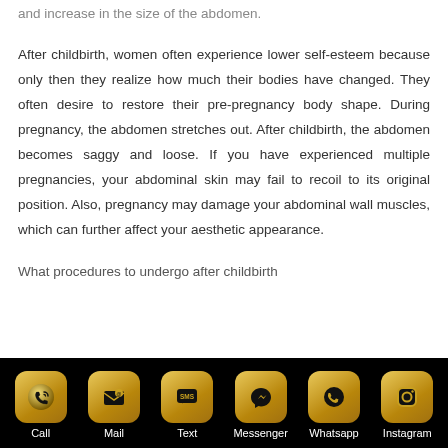and increase in the size of the abdomen.
After childbirth, women often experience lower self-esteem because only then they realize how much their bodies have changed. They often desire to restore their pre-pregnancy body shape. During pregnancy, the abdomen stretches out. After childbirth, the abdomen becomes saggy and loose. If you have experienced multiple pregnancies, your abdominal skin may fail to recoil to its original position. Also, pregnancy may damage your abdominal wall muscles, which can further affect your aesthetic appearance.
What procedures to undergo after childbirth
Call  Mail  Text  Messenger  Whatsapp  Instagram